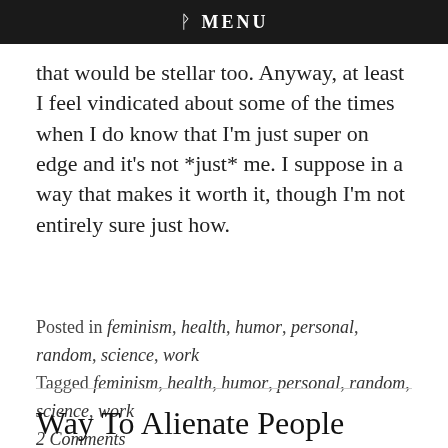ᚹ MENU
that would be stellar too. Anyway, at least I feel vindicated about some of the times when I do know that I'm just super on edge and it's not *just* me. I suppose in a way that makes it worth it, though I'm not entirely sure just how.
Posted in feminism, health, humor, personal, random, science, work
Tagged feminism, health, humor, personal, random, science, work
2 Comments
Way To Alienate People